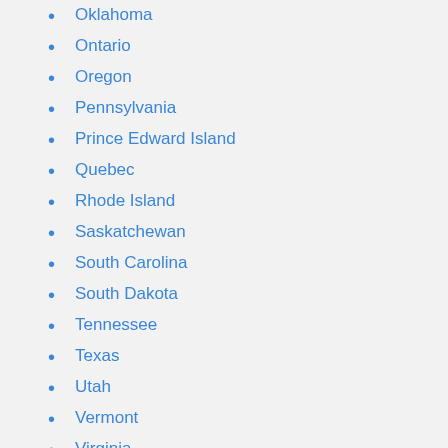Oklahoma
Ontario
Oregon
Pennsylvania
Prince Edward Island
Quebec
Rhode Island
Saskatchewan
South Carolina
South Dakota
Tennessee
Texas
Utah
Vermont
Virginia
Washington
West Virginia
Wisconsin
Wyoming